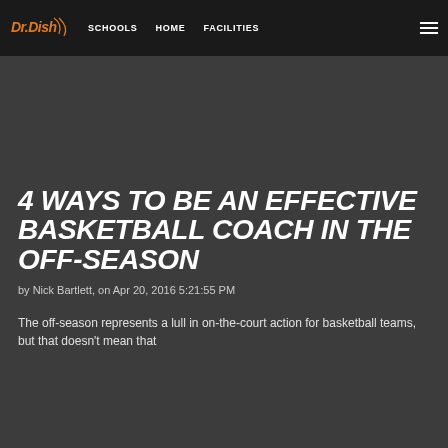Dr.Dish | SCHOOLS  HOME  FACILITIES
4 WAYS TO BE AN EFFECTIVE BASKETBALL COACH IN THE OFF-SEASON
by Nick Bartlett, on Apr 20, 2016 5:21:55 PM
The off-season represents a lull in on-the-court action for basketball teams, but that doesn't mean that